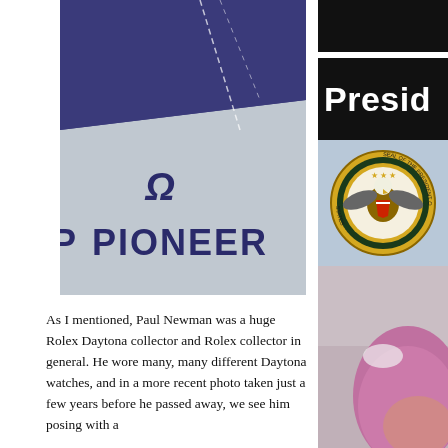[Figure (photo): Close-up of a blue and white Pioneer cycling/racing jersey with the Pioneer logo visible]
[Figure (photo): Right column: top black rectangle, then 'Presid' text on black background, then Presidential Seal of the United States, then pink t-shirt sleeve photo]
As I mentioned, Paul Newman was a huge Rolex Daytona collector and Rolex collector in general. He wore many, many different Daytona watches, and in a more recent photo taken just a few years before he passed away, we see him posing with a